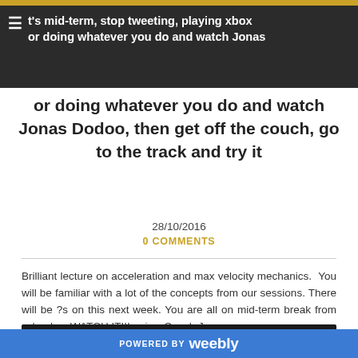It's mid-term, stop tweeting, playing xbox or doing whatever you do and watch Jonas Dodoo, then get off the couch, go to the track and try it
or doing whatever you do and watch Jonas Dodoo, then get off the couch, go to the track and try it
28/10/2016
0 COMMENTS
Brilliant lecture on acceleration and max velocity mechanics. You will be familiar with a lot of the concepts from our sessions. There will be ?s on this next week. You are all on mid-term break from school so WATCH IT!!! enjoy, Coach J
POWERED BY weebly